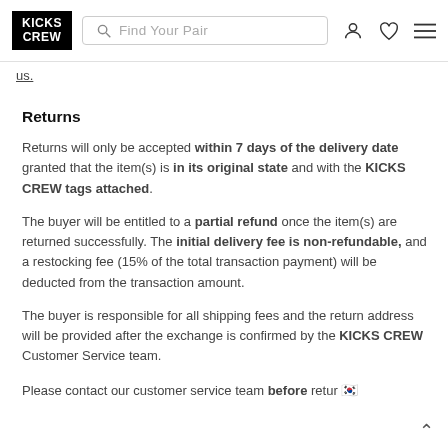KICKS CREW | Find Your Pair [search bar] [user icon] [heart icon] [menu icon]
us.
Returns
Returns will only be accepted within 7 days of the delivery date granted that the item(s) is in its original state and with the KICKS CREW tags attached.
The buyer will be entitled to a partial refund once the item(s) are returned successfully. The initial delivery fee is non-refundable, and a restocking fee (15% of the total transaction payment) will be deducted from the transaction amount.
The buyer is responsible for all shipping fees and the return address will be provided after the exchange is confirmed by the KICKS CREW Customer Service team.
Please contact our customer service team before retur 🇰🇷